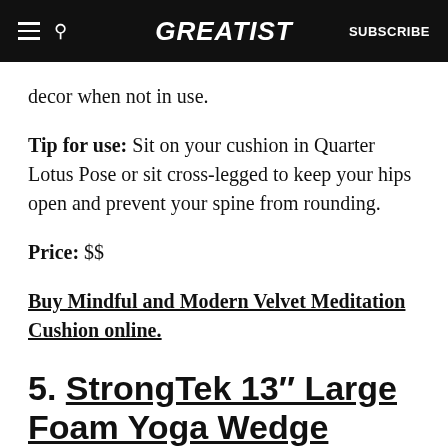GREATIST | SUBSCRIBE
decor when not in use.
Tip for use: Sit on your cushion in Quarter Lotus Pose or sit cross-legged to keep your hips open and prevent your spine from rounding.
Price: $$
Buy Mindful and Modern Velvet Meditation Cushion online.
5. StrongTek 13″ Large Foam Yoga Wedge